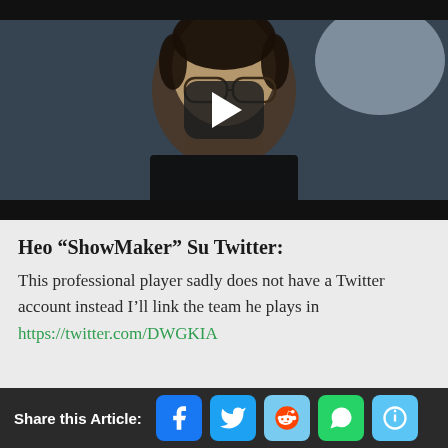[Figure (screenshot): Video thumbnail showing a young Asian man with glasses in a dark jacket, with a YouTube-style play button overlay in the center]
Heo “ShowMaker” Su Twitter:
This professional player sadly does not have a Twitter account instead I’ll link the team he plays in https://twitter.com/DWGKIA
Share this Article: [Facebook] [Twitter] [Reddit] [WhatsApp] [Email]